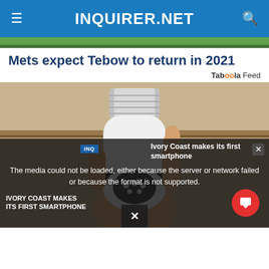INQUIRER.NET
[Figure (photo): Partial green field/grass photo strip at top of article]
Mets expect Tebow to return in 2021
Taboola Feed
[Figure (photo): Person holding a white security camera shaped like a light bulb in front of a wooden surface]
Ivory Coast makes its first smartphone
The media could not be loaded, either because the server or network failed or because the format is not supported.
IVORY COAST MAKES ITS FIRST SMARTPHONE